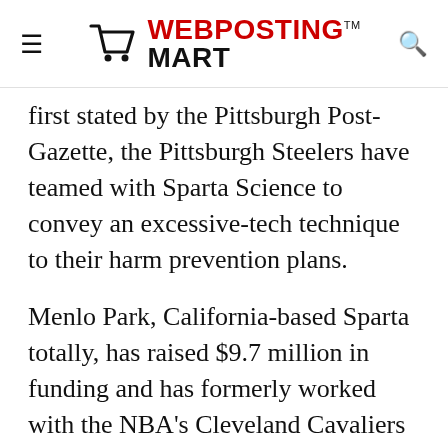WEBPOSTING MART
first stated by the Pittsburgh Post-Gazette, the Pittsburgh Steelers have teamed with Sparta Science to convey an excessive-tech technique to their harm prevention plans.
Menlo Park, California-based Sparta totally, has raised $9.7 million in funding and has formerly worked with the NBA's Cleveland Cavaliers and MLB's Colorado Rockies on damage prevention efforts. Sparta has also worked with the 49ers and the Detroit Lions and started running with the Steelers last summer season. The Steelers have